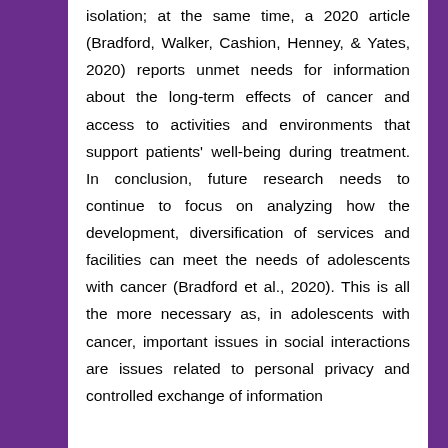isolation; at the same time, a 2020 article (Bradford, Walker, Cashion, Henney, & Yates, 2020) reports unmet needs for information about the long-term effects of cancer and access to activities and environments that support patients' well-being during treatment. In conclusion, future research needs to continue to focus on analyzing how the development, diversification of services and facilities can meet the needs of adolescents with cancer (Bradford et al., 2020). This is all the more necessary as, in adolescents with cancer, important issues in social interactions are issues related to personal privacy and controlled exchange of information